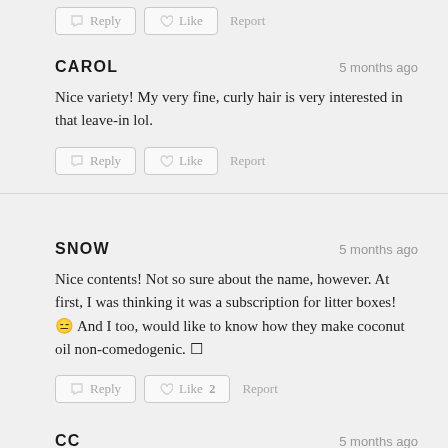Reply  Like  Report
CAROL
5 months ago
Nice variety! My very fine, curly hair is very interested in that leave-in lol.
Reply  Like  Report
SNOW
5 months ago
Nice contents! Not so sure about the name, however. At first, I was thinking it was a subscription for litter boxes! 😑 And I too, would like to know how they make coconut oil non-comedogenic. □
Reply  Like 2  Report
CC
5 months ago